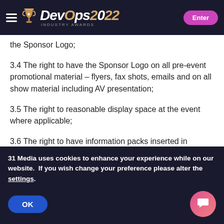DevOps Industry Awards 2022 – Enter
the Sponsor Logo;
3.4 The right to have the Sponsor Logo on all pre-event promotional material – flyers, fax shots, emails and on all show material including AV presentation;
3.5 The right to reasonable display space at the event where applicable;
3.6 The right to have information packs inserted in
31 Media uses cookies to enhance your experience while on our website.  If you wish change your preference please alter the settings.